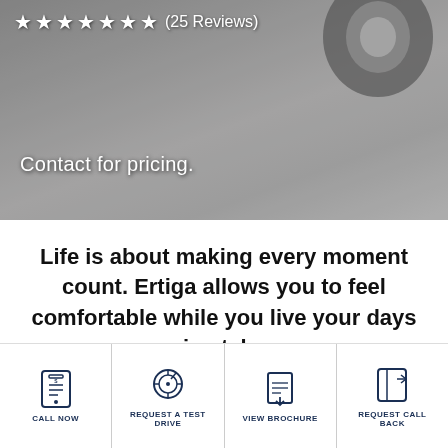[Figure (photo): Hero image showing a car tire/wheel on pavement, black and white photograph. Stars rating row and contact pricing text overlay the image.]
★ ★ ★ ★ ★ ★ ★ (25 Reviews)
Contact for pricing.
Life is about making every moment count. Ertiga allows you to feel comfortable while you live your days in style.
[Figure (infographic): Carousel navigation dots: one empty/outline circle followed by five filled dark navy circles]
CALL NOW
REQUEST A TEST DRIVE
VIEW BROCHURE
REQUEST CALL BACK